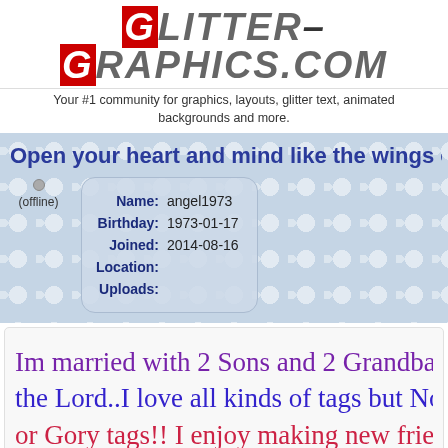GLITTER-GRAPHICS.COM
Your #1 community for graphics, layouts, glitter text, animated backgrounds and more.
Open your heart and mind like the wings of a
| Field | Value |
| --- | --- |
| Name: | angel1973 |
| Birthday: | 1973-01-17 |
| Joined: | 2014-08-16 |
| Location: |  |
| Uploads: |  |
Im married with 2 Sons and 2 Grandbab... the Lord..I love all kinds of tags but No H... or Gory tags!! I enjoy making new frien...
http://picasion.com/gl/8qgp/